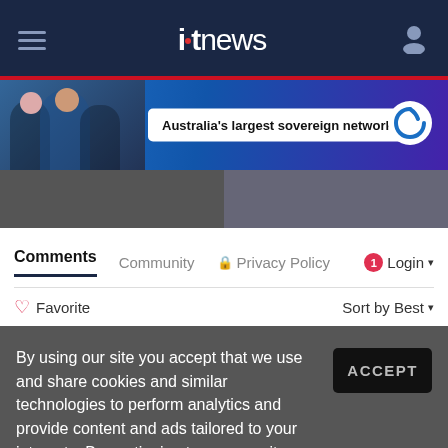itnews
[Figure (photo): Advertisement banner: Australia's largest sovereign network — Telstra]
[Figure (photo): Two article thumbnail images side by side]
Comments   Community   🔒 Privacy Policy   🔔 1  Login ▾
♡ Favorite   Sort by Best ▾
By using our site you accept that we use and share cookies and similar technologies to perform analytics and provide content and ads tailored to your interests. By continuing to use our site, you consent to this. Please see our Cookie Policy for more information.